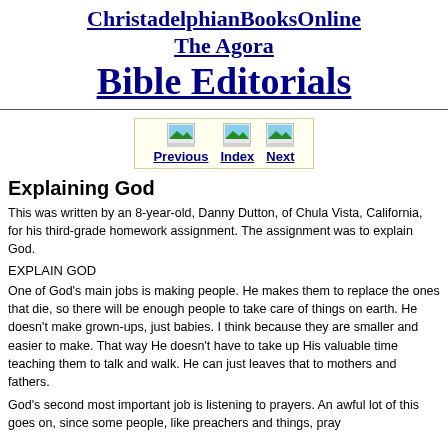ChristadelphianBooksOnline
The Agora
Bible Editorials
[Figure (other): Navigation bar with Previous, Index, and Next buttons on a light yellow background]
Explaining God
This was written by an 8-year-old, Danny Dutton, of Chula Vista, California, for his third-grade homework assignment. The assignment was to explain God.
EXPLAIN GOD
One of God's main jobs is making people. He makes them to replace the ones that die, so there will be enough people to take care of things on earth. He doesn't make grown-ups, just babies. I think because they are smaller and easier to make. That way He doesn't have to take up His valuable time teaching them to talk and walk. He can just leaves that to mothers and fathers.
God's second most important job is listening to prayers. An awful lot of this goes on, since some people, like preachers and things, pray